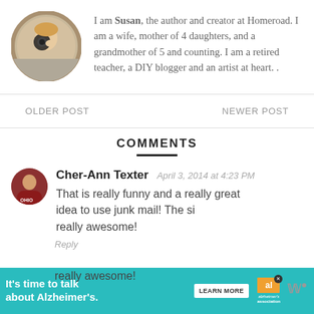[Figure (photo): Circular profile photo of Susan, a woman holding a camera]
I am Susan, the author and creator at Homeroad. I am a wife, mother of 4 daughters, and a grandmother of 5 and counting. I am a retired teacher, a DIY blogger and an artist at heart. .
OLDER POST
NEWER POST
COMMENTS
[Figure (photo): Circular profile photo of commenter Cher-Ann Texter]
Cher-Ann Texter  April 3, 2014 at 4:23 PM
That is really funny and a really great idea to use junk mail! The sign is really awesome!
[Figure (photo): Thumbnail image for What's Next - Flea Market Success article]
WHAT'S NEXT → Flea Market Success
[Figure (infographic): Ad banner: It's time to talk about Alzheimer's. Learn More button and Alzheimer's Association logo]